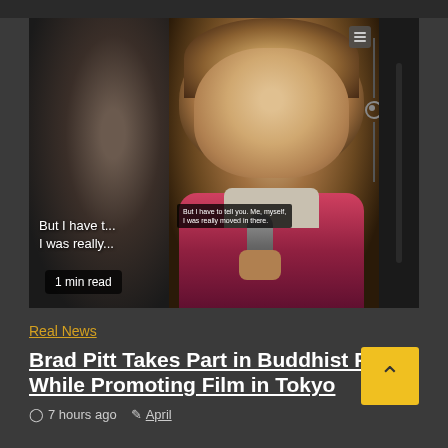[Figure (photo): A composite of three panels showing a man (Brad Pitt) holding a microphone and speaking, with subtitle text overlaid reading 'But I have to tell you. Me, myself, I was really moved in there.' A semi-transparent dark badge shows '1 min read' in the bottom-left corner.]
Real News
Brad Pitt Takes Part in Buddhist Ritual While Promoting Film in Tokyo
⊙ 7 hours ago   ✎ April